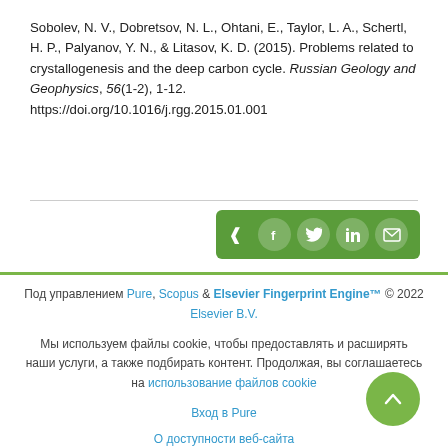Sobolev, N. V., Dobretsov, N. L., Ohtani, E., Taylor, L. A., Schertl, H. P., Palyanov, Y. N., & Litasov, K. D. (2015). Problems related to crystallogenesis and the deep carbon cycle. Russian Geology and Geophysics, 56(1-2), 1-12. https://doi.org/10.1016/j.rgg.2015.01.001
[Figure (infographic): Green share bar with social media icons: share arrow, Facebook, Twitter, LinkedIn, email]
Под управлением Pure, Scopus & Elsevier Fingerprint Engine™ © 2022 Elsevier B.V.
Мы используем файлы cookie, чтобы предоставлять и расширять наши услуги, а также подбирать контент. Продолжая, вы соглашаетесь на использование файлов cookie
Вход в Pure
О доступности веб-сайта
Связаться с нами